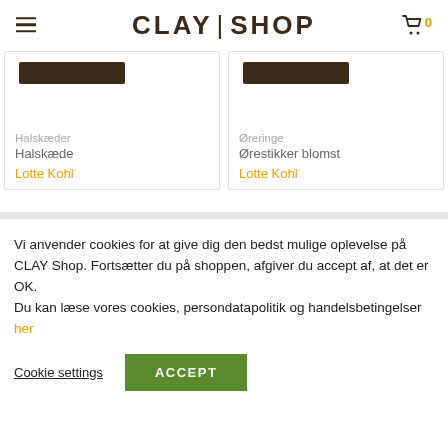CLAY | SHOP
Halskæder
Halskæde
Lotte Kohl
Øreringe
Ørestikker blomst
Lotte Kohl
Vi anvender cookies for at give dig den bedst mulige oplevelse på CLAY Shop. Fortsætter du på shoppen, afgiver du accept af, at det er OK.
Du kan læse vores cookies, persondatapolitik og handelsbetingelser her
Cookie settings
ACCEPT